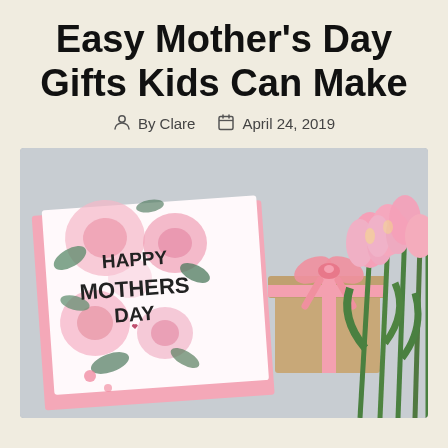Easy Mother's Day Gifts Kids Can Make
By Clare  April 24, 2019
[Figure (photo): A Mother's Day card with floral watercolor roses design reading 'Happy Mothers Day', a small kraft gift box with pink ribbon bow, and pink tulips with green stems arranged on a light grey surface.]